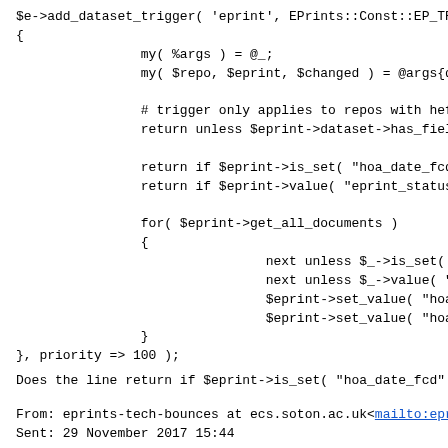$e->add_dataset_trigger( 'eprint', EPrints::Const::EP_TR
{
        my( %args ) = @_;
        my( $repo, $eprint, $changed ) = @args{qw

        # trigger only applies to repos with hefo
        return unless $eprint->dataset->has_field

        return if $eprint->is_set( "hoa_date_fcd"
        return if $eprint->value( "eprint_status"

        for( $eprint->get_all_documents )
        {
                        next unless $_->is_set( '
                        next unless $_->value( "s
                        $eprint->set_value( "hoa_
                        $eprint->set_value( "hoa_
        }
}, priority => 100 );
Does the line return if $eprint->is_set( "hoa_date_fcd" )
From: eprints-tech-bounces at ecs.soton.ac.uk<mailto:epr
Sent: 29 November 2017 15:44
To: eprints-tech at ecs.soton.ac.uk<mailto:eprints-tech a
Subject: Re: [EP-tech] REF Compliance Checker Plugin

Thanks John!

Okay, I'lve made some progress on this but I'm coming a li